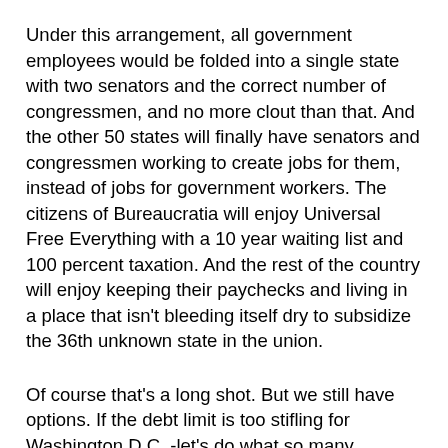Under this arrangement, all government employees would be folded into a single state with two senators and the correct number of congressmen, and no more clout than that. And the other 50 states will finally have senators and congressmen working to create jobs for them, instead of jobs for government workers. The citizens of Bureaucratia will enjoy Universal Free Everything with a 10 year waiting list and 100 percent taxation. And the rest of the country will enjoy keeping their paychecks and living in a place that isn't bleeding itself dry to subsidize the 36th unknown state in the union.
Of course that's a long shot. But we still have options. If the debt limit is too stifling for Washington D.C. -let's do what so many schools, churches and libraries do when money is tight. Let's have a government sale.
The federal government may have run up a 15 trillion dollar deficit, but it also has some mighty appealing assets. Like 30 percent of the total territory of the United States. That 85 percent of Nevada, 70 percent of Alaska, 60 percent of Utah